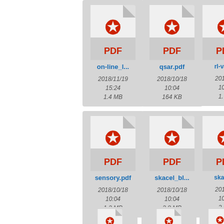[Figure (screenshot): File browser showing PDF file icons in a grid layout. Visible files: on-line_l... (2018/11/19 15:24, 1.4 MB), qsar.pdf (2018/10/18 10:04, 164 KB), rl-van... (2018/... 10:... 1.7...), sensory.pdf (2018/10/18 10:04, 1.2 MB), skacel_bl... (2018/10/18 10:04, 3.8 MB), skace... (2018/... 10:... 2.5...), and partial icons in bottom row.]